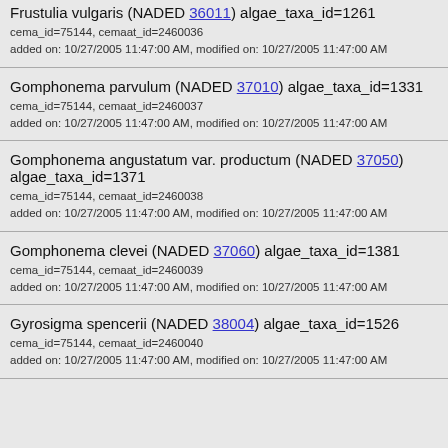Frustulia vulgaris (NADED 36011) algae_taxa_id=1261 cema_id=75144, cemaat_id=2460036 added on: 10/27/2005 11:47:00 AM, modified on: 10/27/2005 11:47:00 AM
Gomphonema parvulum (NADED 37010) algae_taxa_id=1331 cema_id=75144, cemaat_id=2460037 added on: 10/27/2005 11:47:00 AM, modified on: 10/27/2005 11:47:00 AM
Gomphonema angustatum var. productum (NADED 37050) algae_taxa_id=1371 cema_id=75144, cemaat_id=2460038 added on: 10/27/2005 11:47:00 AM, modified on: 10/27/2005 11:47:00 AM
Gomphonema clevei (NADED 37060) algae_taxa_id=1381 cema_id=75144, cemaat_id=2460039 added on: 10/27/2005 11:47:00 AM, modified on: 10/27/2005 11:47:00 AM
Gyrosigma spencerii (NADED 38004) algae_taxa_id=1526 cema_id=75144, cemaat_id=2460040 added on: 10/27/2005 11:47:00 AM, modified on: 10/27/2005 11:47:00 AM